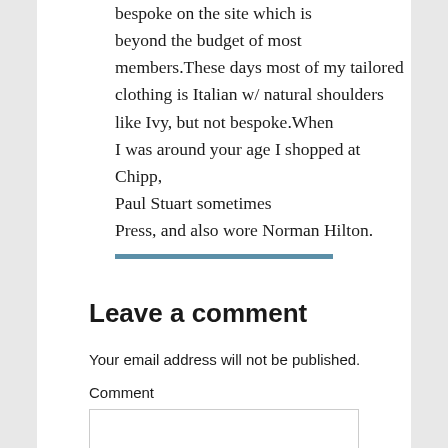bespoke on the site which is beyond the budget of most members.These days most of my tailored clothing is Italian w/ natural shoulders like Ivy, but not bespoke.When I was around your age I shopped at Chipp, Paul Stuart sometimes Press, and also wore Norman Hilton.
Leave a comment
Your email address will not be published.
Comment